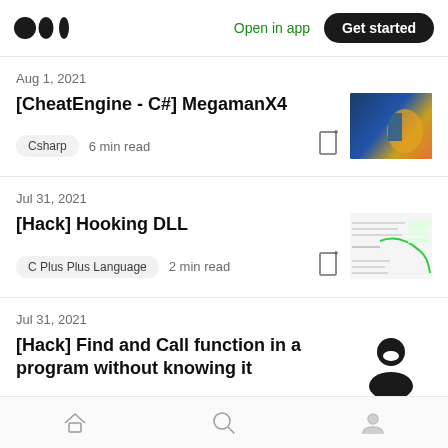Medium — Open in app | Get started
Aug 1, 2021
[CheatEngine - C#] MegamanX4
Csharp  6 min read
[Figure (photo): Thumbnail image for MegamanX4 article showing a game scene with yellow and blue character]
Jul 31, 2021
[Hack] Hooking DLL
C Plus Plus Language  2 min read
[Figure (screenshot): Thumbnail image for Hooking DLL article showing code or diagram with green lines]
Jul 31, 2021
[Hack] Find and Call function in a program without knowing it
[Figure (illustration): Thumbnail showing a black character/person icon]
Home | Search | Profile